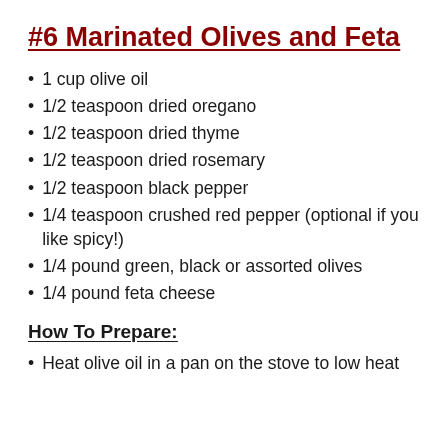#6 Marinated Olives and Feta
1 cup olive oil
1/2 teaspoon dried oregano
1/2 teaspoon dried thyme
1/2 teaspoon dried rosemary
1/2 teaspoon black pepper
1/4 teaspoon crushed red pepper (optional if you like spicy!)
1/4 pound green, black or assorted olives
1/4 pound feta cheese
How To Prepare:
Heat olive oil in a pan on the stove to low heat